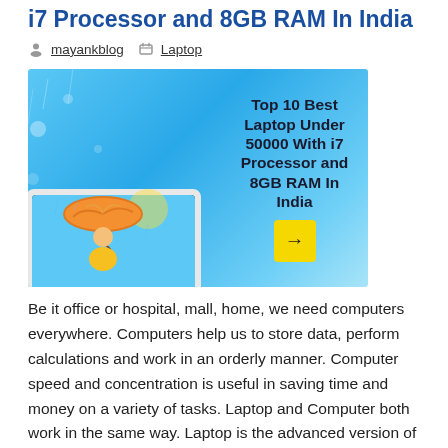i7 Processor and 8GB RAM In India
mayankblog   Laptop
[Figure (illustration): Blog feature image showing a laptop with a girl under umbrella on screen and text overlay reading 'Top 10 Best Laptop Under 50000 With i7 Processor and 8GB RAM In India' with a yellow arrow button]
Be it office or hospital, mall, home, we need computers everywhere. Computers help us to store data, perform calculations and work in an orderly manner. Computer speed and concentration is useful in saving time and money on a variety of tasks. Laptop and Computer both work in the same way. Laptop is the advanced version of computer.